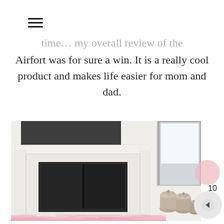☰
time… my overall review of the Airfort was for sure a win. It is a really cool product and makes life easier for mom and dad.
[Figure (photo): Living room interior showing a white fireplace mantel with a dark firebox, a TV mounted above, a window to the right, decorative pots on the floor to the right, and pink fabric/blanket on the floor in the foreground.]
10